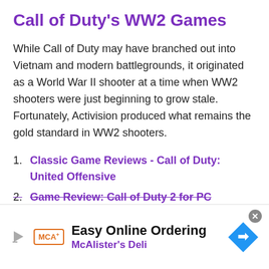Call of Duty's WW2 Games
While Call of Duty may have branched out into Vietnam and modern battlegrounds, it originated as a World War II shooter at a time when WW2 shooters were just beginning to grow stale. Fortunately, Activision produced what remains the gold standard in WW2 shooters.
1. Classic Game Reviews - Call of Duty: United Offensive
2. Game Review: Call of Duty 2 for PC
Easy Online Ordering
McAlister's Deli